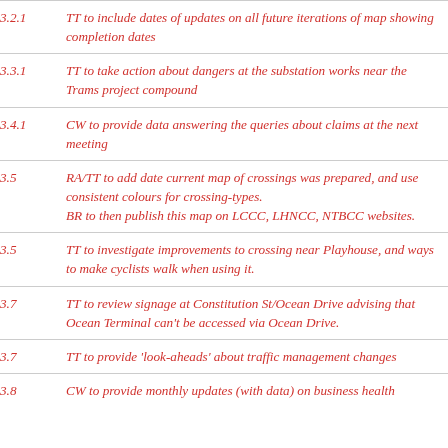3.2.1  TT to include dates of updates on all future iterations of map showing completion dates
3.3.1  TT to take action about dangers at the substation works near the Trams project compound
3.4.1  CW to provide data answering the queries about claims at the next meeting
3.5  RA/TT to add date current map of crossings was prepared, and use consistent colours for crossing-types. BR to then publish this map on LCCC, LHNCC, NTBCC websites.
3.5  TT to investigate improvements to crossing near Playhouse, and ways to make cyclists walk when using it.
3.7  TT to review signage at Constitution St/Ocean Drive advising that Ocean Terminal can't be accessed via Ocean Drive.
3.7  TT to provide 'look-aheads' about traffic management changes
3.8  CW to provide monthly updates (with data) on business health